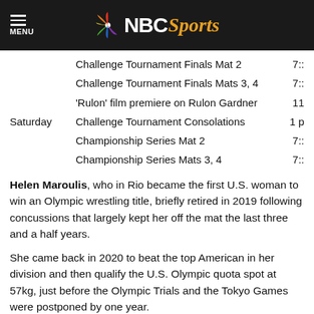NBC Sports
Challenge Tournament Finals Mat 2  7:
Challenge Tournament Finals Mats 3, 4  7:
'Rulon' film premiere on Rulon Gardner  11
Saturday  Challenge Tournament Consolations  1
Championship Series Mat 2  7:
Championship Series Mats 3, 4  7:
Helen Maroulis, who in Rio became the first U.S. woman to win an Olympic wrestling title, briefly retired in 2019 following concussions that largely kept her off the mat the last three and a half years.
She came back in 2020 to beat the top American in her division and then qualify the U.S. Olympic quota spot at 57kg, just before the Olympic Trials and the Tokyo Games were postponed by one year.